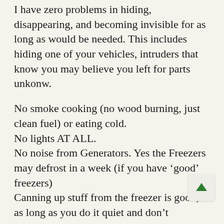I have zero problems in hiding, disappearing, and becoming invisible for as long as would be needed. This includes hiding one of your vehicles, intruders that know you may believe you left for parts unkonw.
No smoke cooking (no wood burning, just clean fuel) or eating cold.
No lights AT ALL.
No noise from Generators. Yes the Freezers may defrost in a week (if you have ‘good’ freezers)
Canning up stuff from the freezer is good, as long as you do it quiet and don’t advertise with smells and such.
No Travel or recreational outside activates. Yes the Garden may go all to hell, ohhhhh well, better to look like the place is abandoned than attract visitors tending the Garden. AND if someone raids the Garden, so what, you had better have food without